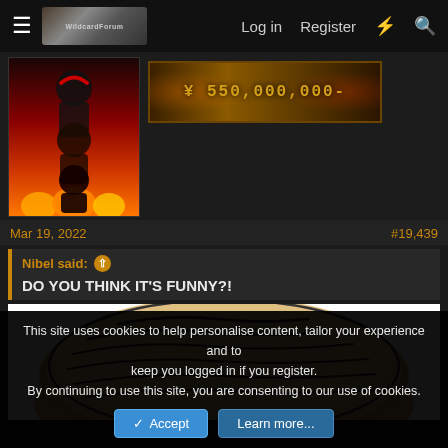Log in  Register
[Figure (screenshot): Forum navigation bar with hamburger menu, site logo with anime characters, and nav links: Log in, Register, lightning bolt icon, search icon]
[Figure (illustration): Anime character avatar image showing multiple versions of Luffy from One Piece stacked vertically with red and flame background]
[Figure (illustration): Bounty poster image showing '$550,000,000-' in gold monospace font on dark brown background with flame effects]
Mar 19, 2022
#19,439
Nibel said: ↑
DO YOU THINK IT'S FUNNY?!
[Figure (illustration): Meme image of a large bread loaf or bun drawn in cartoon style with brown/tan color and line shading marks on top, white background]
This site uses cookies to help personalise content, tailor your experience and to keep you logged in if you register.
By continuing to use this site, you are consenting to our use of cookies.
Accept
Learn more...